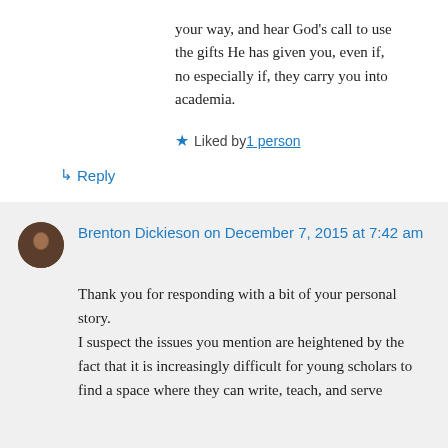your way, and hear God’s call to use the gifts He has given you, even if, no especially if, they carry you into academia.
★ Liked by 1 person
↳ Reply
Brenton Dickieson on December 7, 2015 at 7:42 am
Thank you for responding with a bit of your personal story.
I suspect the issues you mention are heightened by the fact that it is increasingly difficult for young scholars to find a space where they can write, teach, and serve